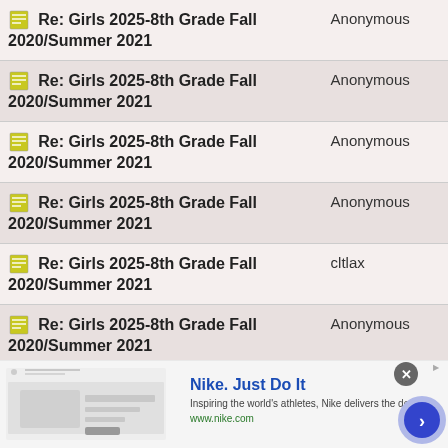| Title | Author |  |
| --- | --- | --- |
| Re: Girls 2025-8th Grade Fall 2020/Summer 2021 | Anonymous |  |
| Re: Girls 2025-8th Grade Fall 2020/Summer 2021 | Anonymous |  |
| Re: Girls 2025-8th Grade Fall 2020/Summer 2021 | Anonymous |  |
| Re: Girls 2025-8th Grade Fall 2020/Summer 2021 | Anonymous |  |
| Re: Girls 2025-8th Grade Fall 2020/Summer 2021 | cltlax |  |
| Re: Girls 2025-8th Grade Fall 2020/Summer 2021 | Anonymous |  |
| Re: Girls 2025-8th Grade Fall 2020/Summer 2021 | Anonymous |  |
| Re: Girls 2025-8th Grade Fall 2020/Summer 2021 | Anonymous |  |
[Figure (infographic): Nike advertisement banner: Nike. Just Do It — Inspiring the world's athletes, Nike delivers the deals. www.nike.com]